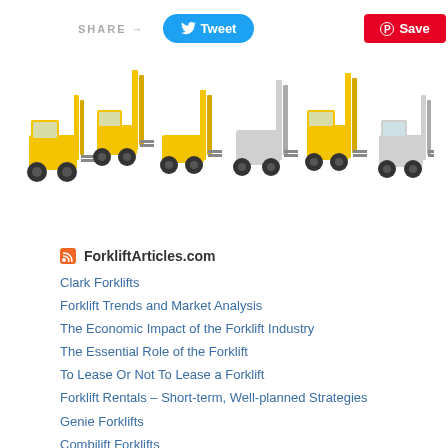[Figure (screenshot): Share bar with SHARE → text, a blue Tweet button with Twitter bird icon, and a red Save button with Pinterest icon]
[Figure (photo): Six yellow forklifts of different types arranged in a row on white background]
ForkliftArticles.com
Clark Forklifts
Forklift Trends and Market Analysis
The Economic Impact of the Forklift Industry
The Essential Role of the Forklift
To Lease Or Not To Lease a Forklift
Forklift Rentals – Short-term, Well-planned Strategies
Genie Forklifts
Combilift Forklifts
Doosan Forklifts
ForkliftClassifieds.com – The Used Forklift Marketplace